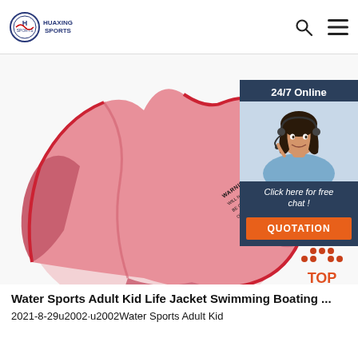HUAXING SPORTS
[Figure (photo): Pink child/adult life jacket laid flat, showing WARNING label text on the front panel. Red trim visible around edges.]
[Figure (infographic): 24/7 Online chat widget with photo of female customer service representative wearing headset, with 'Click here for free chat!' text and orange QUOTATION button]
[Figure (illustration): Orange 'TOP' scroll-to-top button with upward arrow dots above text]
Water Sports Adult Kid Life Jacket Swimming Boating ...
2021-8-29u2002·u2002Water Sports Adult Kid